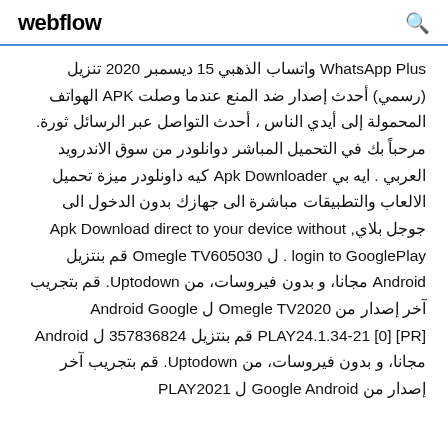webflow
WhatsApp Plus واتساب الذهبي 15 ديسمبر 2020 تنزيل (رسمي) أحدث إصدار ضد المنع عندما وصلت APK الهواتف المحمولة إلى أيدي الناس ، أحدث التواصل عبر الرسائل ثورة. مرحباً بك في التحميل المباشر دوانلودر من سوق الاندرويد العربي . ايه بي Apk Downloader كيه داونلودر ميزة تحميل الالعاب والتطبيقات مباشرة الى جهازك بدون الدخول الى جوجل بلاي, Apk Download direct to your device without login to GooglePlay . ل Omegle TV605030 قم بنتزيل Android مجانا، و بدون فيروسات، من Uptodown. قم بتجريب آخر إصدار من Omegle TV2020 ل Android Google PLAY24.1.34-21 [0] [PR] قم بنتزيل 357836824 ل Android مجانا، و بدون فيروسات، من Uptodown. قم بتجريب آخر إصدار من Google Android ل PLAY2021